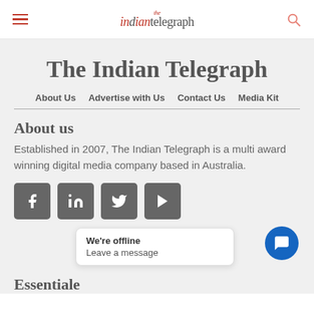the indian telegraph
The Indian Telegraph
About Us   Advertise with Us   Contact Us   Media Kit
About us
Established in 2007, The Indian Telegraph is a multi award winning digital media company based in Australia.
[Figure (other): Social media icon buttons: Facebook, LinkedIn, Twitter, YouTube]
We're offline
Leave a message
Essentiale